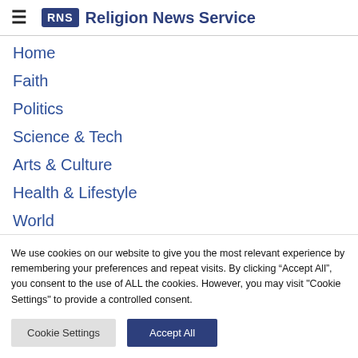RNS Religion News Service
Home
Faith
Politics
Science & Tech
Arts & Culture
Health & Lifestyle
World
US
We use cookies on our website to give you the most relevant experience by remembering your preferences and repeat visits. By clicking “Accept All”, you consent to the use of ALL the cookies. However, you may visit "Cookie Settings" to provide a controlled consent.
Cookie Settings | Accept All